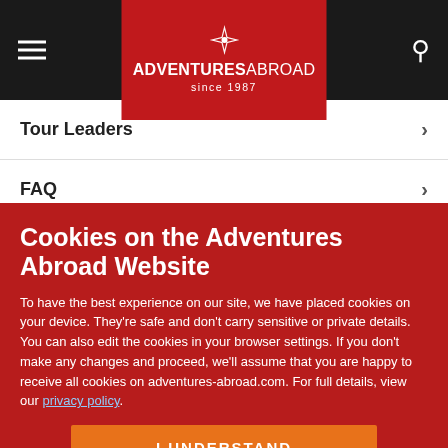Adventures Abroad since 1987 - navigation header
Tour Leaders
FAQ
Cookies on the Adventures Abroad Website
To have the best experience on our site, we have placed cookies on your device. They're safe and don't carry sensitive or private details. You can also edit the cookies in your browser settings. If you don't make any changes and proceed, we'll assume that you are happy to receive all cookies on adventures-abroad.com. For full details, view our privacy policy.
I UNDERSTAND